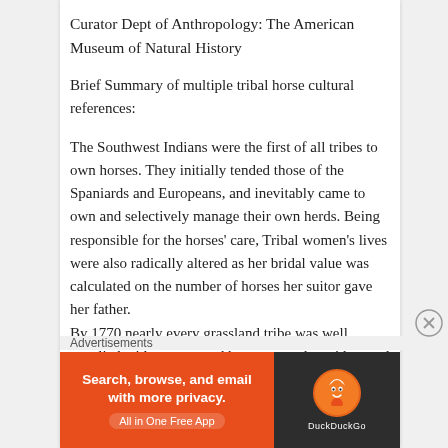Curator Dept of Anthropology: The American Museum of Natural History
Brief Summary of multiple tribal horse cultural references:
The Southwest Indians were the first of all tribes to own horses. They initially tended those of the Spaniards and Europeans, and inevitably came to own and selectively manage their own herds. Being responsible for the horses' care, Tribal women's lives were also radically altered as her bridal value was calculated on the number of horses her suitor gave her father.
By 1770 nearly every grassland tribe was well supplied with mounts and became peerless riders and breeders. To the white man coming onto the Plains, these pintos, duns, and splotched cayuses
Advertisements
[Figure (infographic): DuckDuckGo advertisement banner: orange left panel with text 'Search, browse, and email with more privacy. All in One Free App', dark right panel with DuckDuckGo duck logo and brand name.]